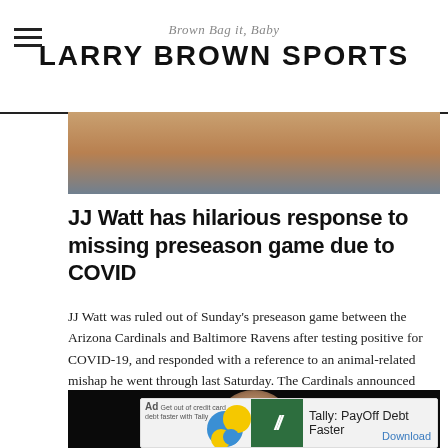Brown Bag it, Baby — LARRY BROWN SPORTS
[Figure (photo): Partial photo of a person's face/head, cropped at top of page]
JJ Watt has hilarious response to missing preseason game due to COVID
JJ Watt was ruled out of Sunday's preseason game between the Arizona Cardinals and Baltimore Ravens after testing positive for COVID-19, and responded with a reference to an animal-related mishap he went through last Saturday. The Cardinals announced on Sunday…
[Figure (photo): Partial photo of a person's face against a dark background]
[Figure (other): Ad: Tally: PayOff Debt Faster — Download]